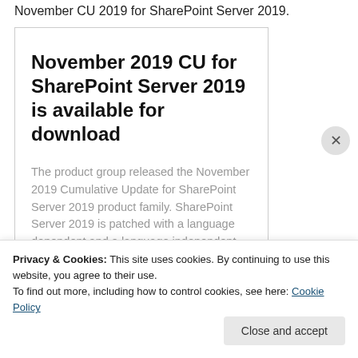November CU 2019 for SharePoint Server 2019.
November 2019 CU for SharePoint Server 2019 is available for download
The product group released the November 2019 Cumulative Update for SharePoint Server 2019 product family. SharePoint Server 2019 is patched with a language dependent and a language independent fix...
Privacy & Cookies: This site uses cookies. By continuing to use this website, you agree to their use.
To find out more, including how to control cookies, see here: Cookie Policy